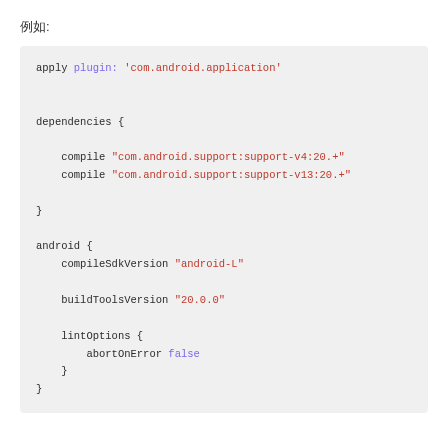例如:
apply plugin: 'com.android.application'

dependencies {

    compile "com.android.support:support-v4:20.+"
    compile "com.android.support:support-v13:20.+"

}

android {
    compileSdkVersion "android-L"

    buildToolsVersion "20.0.0"

    lintOptions {
        abortOnError false
    }
}